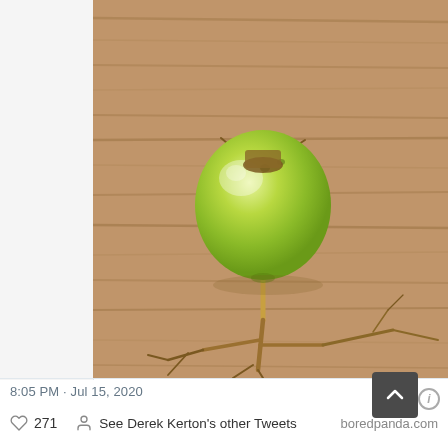[Figure (photo): A single green grape resting on a wooden surface, still attached to a dried branching stem/vine structure that has multiple small branches splaying outward at the bottom, resembling a tiny tree. The grape has a cracked crown at the top with dried brown stem material.]
8:05 PM · Jul 15, 2020
271   See Derek Kerton's other Tweets   boredpanda.com